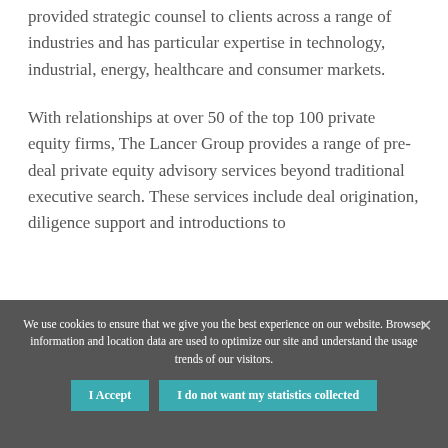provided strategic counsel to clients across a range of industries and has particular expertise in technology, industrial, energy, healthcare and consumer markets.
With relationships at over 50 of the top 100 private equity firms, The Lancer Group provides a range of pre-deal private equity advisory services beyond traditional executive search. These services include deal origination, diligence support and introductions to
We use cookies to ensure that we give you the best experience on our website. Browser information and location data are used to optimize our site and understand the usage trends of our visitors.